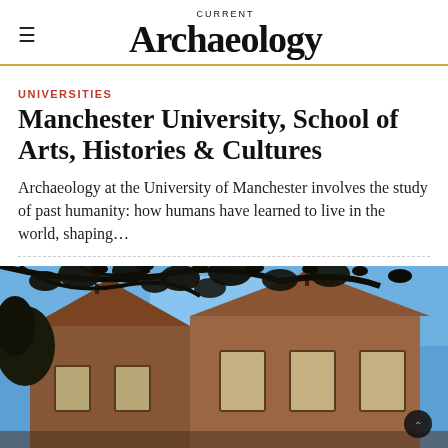CURRENT Archaeology
UNIVERSITIES
Manchester University, School of Arts, Histories & Cultures
Archaeology at the University of Manchester involves the study of past humanity: how humans have learned to live in the world, shaping…
[Figure (photo): Photograph of a red-brick Victorian university building with ornate gabled roofline viewed from below, with silhouetted tree branches and foliage in the foreground against a bright blue sky.]